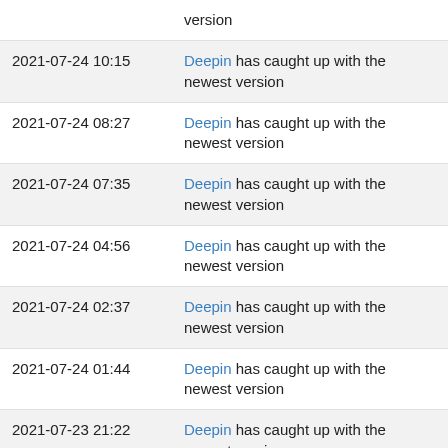| (partial top) | version |
| 2021-07-24 10:15 | Deepin has caught up with the newest version |
| 2021-07-24 08:27 | Deepin has caught up with the newest version |
| 2021-07-24 07:35 | Deepin has caught up with the newest version |
| 2021-07-24 04:56 | Deepin has caught up with the newest version |
| 2021-07-24 02:37 | Deepin has caught up with the newest version |
| 2021-07-24 01:44 | Deepin has caught up with the newest version |
| 2021-07-23 21:22 | Deepin has caught up with the newest version |
| 2021-07-23 17:57 | Deepin has caught up with the newest (partial) |